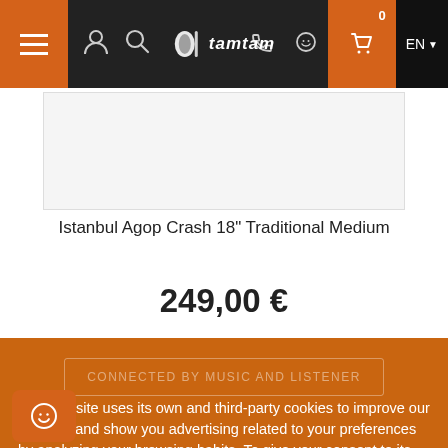Tamtam Percusion - Navigation bar with hamburger menu, user icon, search icon, logo, phone, whatsapp, cart (0), EN language selector
[Figure (photo): Product image placeholder for Istanbul Agop Crash 18" Traditional Medium cymbal]
Istanbul Agop Crash 18" Traditional Medium
249,00 €
CONNECTED BY MUSIC AND LISTENER
This website uses its own and third-party cookies to improve our services and show you advertising related to your preferences by analyzing your browsing habits. To give your consent to its use, press the Accept button.
More information   customize cookies
I ACCEPT
[Figure (photo): Partial view of a cymbal at the bottom of the page, golden/tan colored]